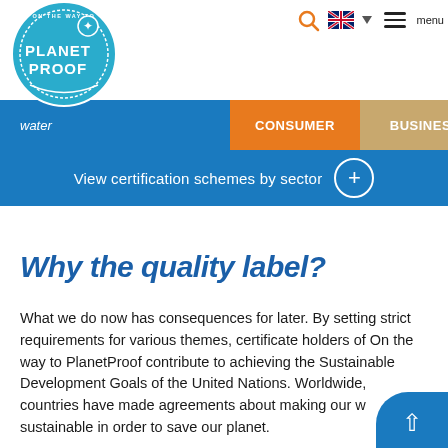[Figure (logo): On the Way to PlanetProof circular logo with a starfish icon, teal/blue color scheme]
menu
water
CONSUMER
BUSINESS
View certification schemes by sector
Why the quality label?
What we do now has consequences for later. By setting strict requirements for various themes, certificate holders of On the way to PlanetProof contribute to achieving the Sustainable Development Goals of the United Nations. Worldwide, countries have made agreements about making our world more sustainable in order to save our planet.